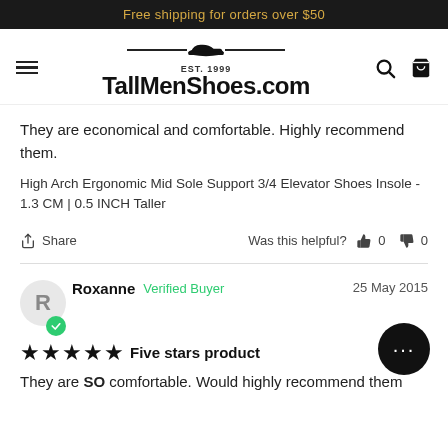Free shipping for orders over $50
[Figure (logo): TallMenShoes.com logo with shoe icon, EST. 1999, hamburger menu, search and cart icons]
They are economical and comfortable. Highly recommend them.
High Arch Ergonomic Mid Sole Support 3/4 Elevator Shoes Insole - 1.3 CM | 0.5 INCH Taller
Share   Was this helpful? 0  0
Roxanne  Verified Buyer   25 May 2015
★★★★★ Five stars product
They are SO comfortable. Would highly recommend them